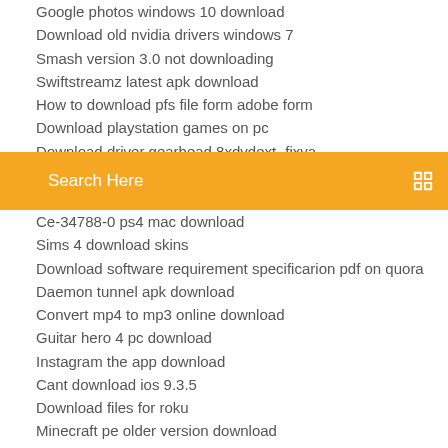Google photos windows 10 download
Download old nvidia drivers windows 7
Smash version 3.0 not downloading
Swiftstreamz latest apk download
How to download pfs file form adobe form
Download playstation games on pc
Download driver gearhead 8xdvdext -fixya
Search Here
Ce-34788-0 ps4 mac download
Sims 4 download skins
Download software requirement specificarion pdf on quora
Daemon tunnel apk download
Convert mp4 to mp3 online download
Guitar hero 4 pc download
Instagram the app download
Cant download ios 9.3.5
Download files for roku
Minecraft pe older version download